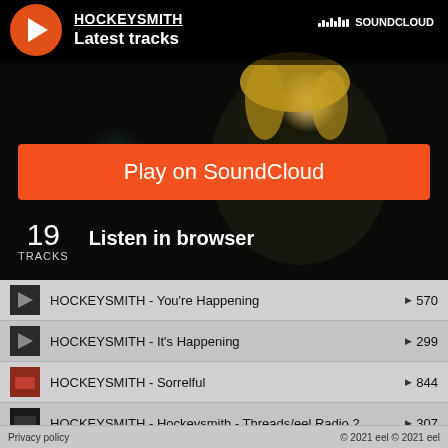[Figure (screenshot): SoundCloud embed player for HOCKEYSMITH showing artist photo (blurred face, blond hair, dark background), play button, artist name, Latest tracks label, SoundCloud logo, Play on SoundCloud orange button, track count 19 TRACKS, Listen in browser link]
HOCKEYSMITH - You're Happening  ▶ 570
HOCKEYSMITH - It's Happening  ▶ 299
HOCKEYSMITH - Sorrelful  ▶ 844
HOCKEYSMITH - Hockeysmith - Threads/eel Radio 2...  ▶ 307
Privacy policy    © 2021 eel © 2021 eel